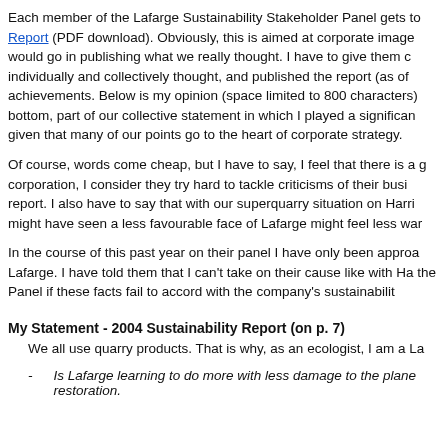Each member of the Lafarge Sustainability Stakeholder Panel gets to... Report (PDF download). Obviously, this is aimed at corporate image... would go in publishing what we really thought. I have to give them c... individually and collectively thought, and published the report (as of... achievements. Below is my opinion (space limited to 800 characters)... bottom, part of our collective statement in which I played a significan... given that many of our points go to the heart of corporate strategy.
Of course, words come cheap, but I have to say, I feel that there is a g... corporation, I consider they try hard to tackle criticisms of their busi... report. I also have to say that with our superquarry situation on Harri... might have seen a less favourable face of Lafarge might feel less war...
In the course of this past year on their panel I have only been approa... Lafarge. I have told them that I can't take on their cause like with Ha... the Panel if these facts fail to accord with the company's sustainabilit...
My Statement - 2004 Sustainability Report (on p. 7)
We all use quarry products. That is why, as an ecologist, I am a La...
Is Lafarge learning to do more with less damage to the plane... restoration.